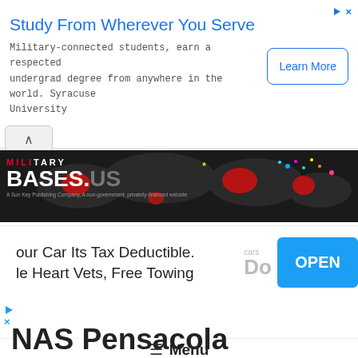[Figure (screenshot): Advertisement banner: 'Study From Wherever You Serve' with Syracuse University text and Learn More button]
[Figure (screenshot): Military Bases .US logo banner with world map background]
[Figure (screenshot): Advertisement: 'our Car Its Tax Deductible. le Heart Vets, Free Towing' with OPEN button]
≡ Menu
NAS Pensacola